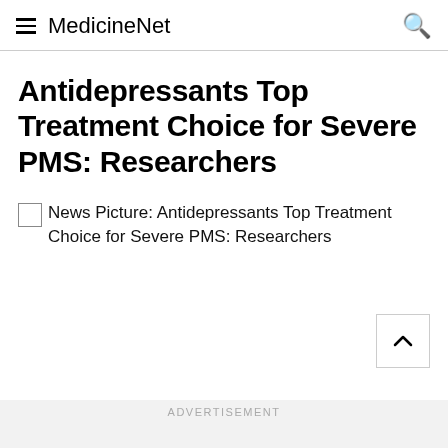MedicineNet
Antidepressants Top Treatment Choice for Severe PMS: Researchers
News Picture: Antidepressants Top Treatment Choice for Severe PMS: Researchers
ADVERTISEMENT